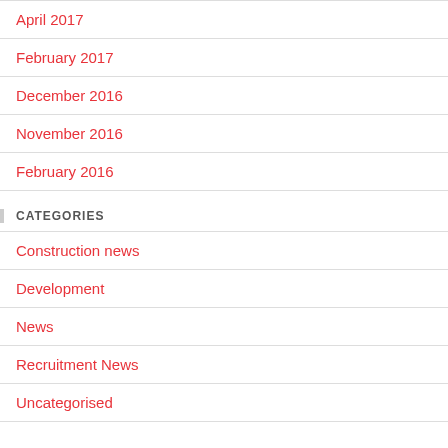April 2017
February 2017
December 2016
November 2016
February 2016
CATEGORIES
Construction news
Development
News
Recruitment News
Uncategorised